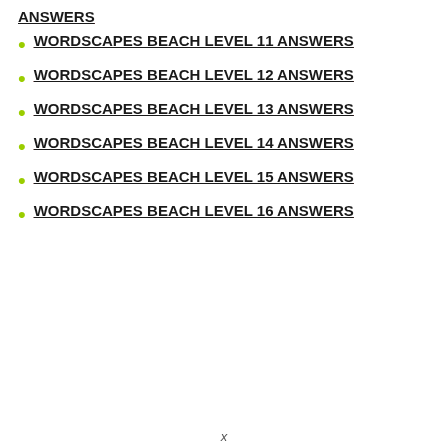ANSWERS
WORDSCAPES BEACH LEVEL 11 ANSWERS
WORDSCAPES BEACH LEVEL 12 ANSWERS
WORDSCAPES BEACH LEVEL 13 ANSWERS
WORDSCAPES BEACH LEVEL 14 ANSWERS
WORDSCAPES BEACH LEVEL 15 ANSWERS
WORDSCAPES BEACH LEVEL 16 ANSWERS
x